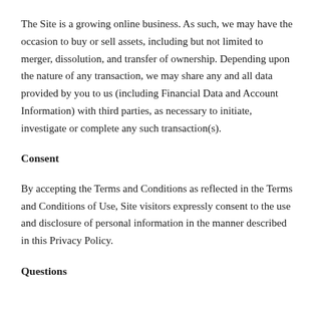The Site is a growing online business. As such, we may have the occasion to buy or sell assets, including but not limited to merger, dissolution, and transfer of ownership. Depending upon the nature of any transaction, we may share any and all data provided by you to us (including Financial Data and Account Information) with third parties, as necessary to initiate, investigate or complete any such transaction(s).
Consent
By accepting the Terms and Conditions as reflected in the Terms and Conditions of Use, Site visitors expressly consent to the use and disclosure of personal information in the manner described in this Privacy Policy.
Questions